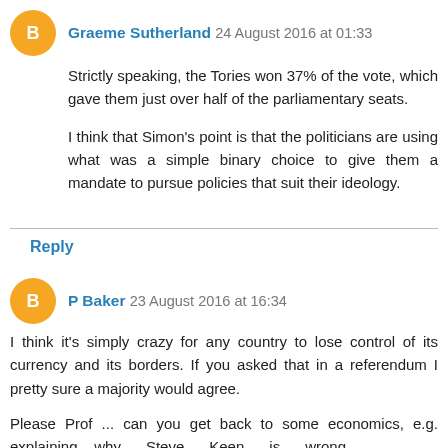Graeme Sutherland 24 August 2016 at 01:33
Strictly speaking, the Tories won 37% of the vote, which gave them just over half of the parliamentary seats.
I think that Simon's point is that the politicians are using what was a simple binary choice to give them a mandate to pursue policies that suit their ideology.
Reply
P Baker 23 August 2016 at 16:34
I think it's simply crazy for any country to lose control of its currency and its borders. If you asked that in a referendum I pretty sure a majority would agree.
Please Prof ... can you get back to some economics, e.g. explaining why Steve Keen is wrong https://www.youtube.com/watch?v=IcNBW9609HM